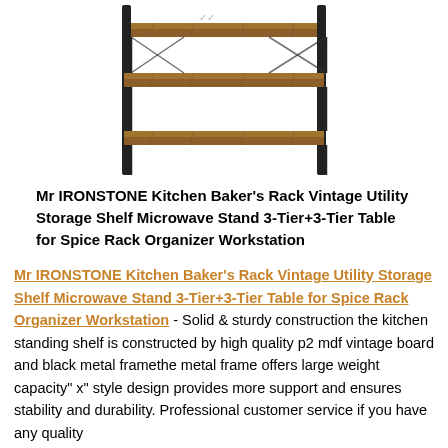[Figure (photo): Photo of a kitchen baker's rack with black metal frame and brown wood shelves, 3-tier design]
Mr IRONSTONE Kitchen Baker's Rack Vintage Utility Storage Shelf Microwave Stand 3-Tier+3-Tier Table for Spice Rack Organizer Workstation
Mr IRONSTONE Kitchen Baker's Rack Vintage Utility Storage Shelf Microwave Stand 3-Tier+3-Tier Table for Spice Rack Organizer Workstation - Solid & sturdy construction the kitchen standing shelf is constructed by high quality p2 mdf vintage board and black metal framethe metal frame offers large weight capacity" x" style design provides more support and ensures stability and durability. Professional customer service if you have any quality